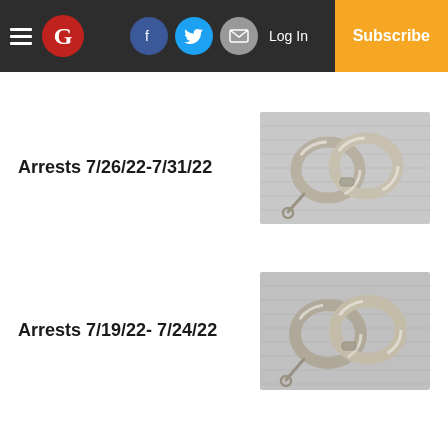The Gazette — Log In | Subscribe
Arrests 7/26/22-7/31/22
[Figure (photo): Photo of metal handcuffs on a surface]
Arrests 7/19/22- 7/24/22
[Figure (photo): Photo of metal handcuffs on a surface]